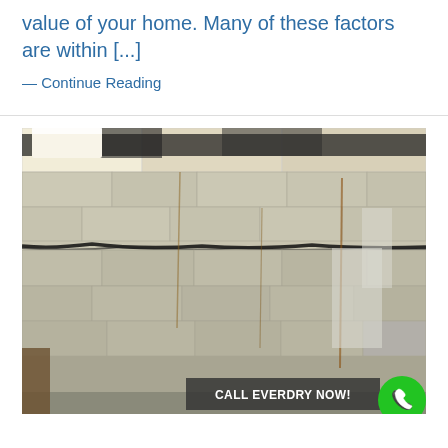value of your home. Many of these factors are within [...]
— Continue Reading
[Figure (photo): Photograph of a cracked and damaged basement concrete block wall with water stains, rust streaks, and a horizontal crack running across the wall. Drop ceiling panels visible at the top.]
CALL EVERDRY NOW!